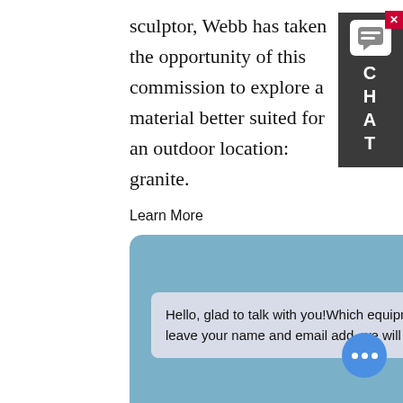sculptor, Webb has taken the opportunity of this commission to explore a material better suited for an outdoor location: granite.
Learn More
[Figure (photo): Industrial construction or manufacturing equipment — a large multi-level steel structure (possibly a concrete batching or asphalt plant) against a blue sky, with scaffolding, hoppers, conveyors, and a modular building section with green-tinted windows. Shot outdoors on a paved lot.]
A suspicious death at Green Lake, an investigation's limits
No [text partially obscured] a
to [text partially obscured] n.
How she came to be floating 20 yards from shore — in